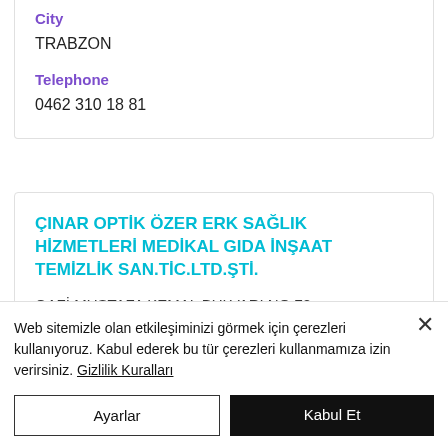City
TRABZON
Telephone
0462 310 18 81
ÇINAR OPTİK ÖZER ERK SAĞLIK HİZMETLERİ MEDİKAL GIDA İNŞAAT TEMİZLİK SAN.TİC.LTD.ŞTİ.
GAZİ MUSTAFA KEMAL BULVARI NO:72
Web sitemizle olan etkileşiminizi görmek için çerezleri kullanıyoruz. Kabul ederek bu tür çerezleri kullanmamıza izin verirsiniz. Gizlilik Kuralları
Ayarlar
Kabul Et